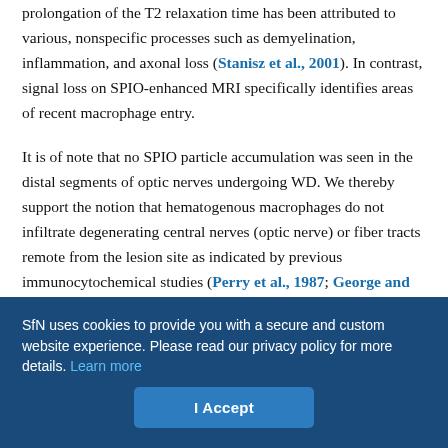prolongation of the T2 relaxation time has been attributed to various, nonspecific processes such as demyelination, inflammation, and axonal loss (Stanisz et al., 2001). In contrast, signal loss on SPIO-enhanced MRI specifically identifies areas of recent macrophage entry.
It is of note that no SPIO particle accumulation was seen in the distal segments of optic nerves undergoing WD. We thereby support the notion that hematogenous macrophages do not infiltrate degenerating central nerves (optic nerve) or fiber tracts remote from the lesion site as indicated by previous immunocytochemical studies (Perry et al., 1987; George and Griffin, 1994). Thus, SPIO labeling can differentiate between microglial and acute hematogenous macrophage responses in the nervous system. This opens a broad
SfN uses cookies to provide you with a secure and custom website experience. Please read our privacy policy for more details. Learn more
I Accept